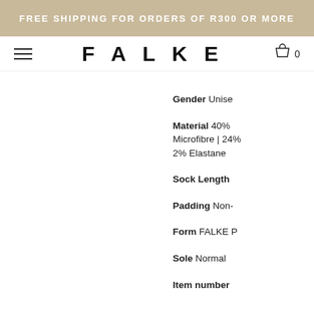FREE SHIPPING FOR ORDERS OF R300 OR MORE
FALKE
Gender Unisex
Material 40% Microfibre | 24% ... 2% Elastane
Sock Length
Padding Non-...
Form FALKE P...
Sole Normal
Item number